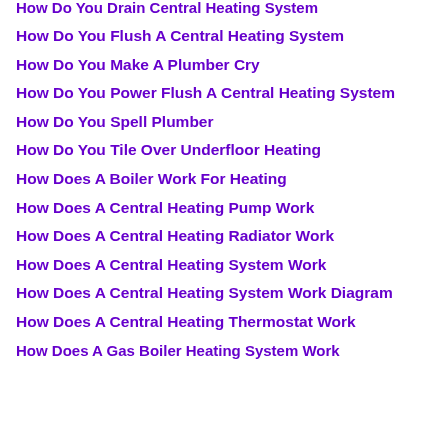How Do You Drain Central Heating System
How Do You Flush A Central Heating System
How Do You Make A Plumber Cry
How Do You Power Flush A Central Heating System
How Do You Spell Plumber
How Do You Tile Over Underfloor Heating
How Does A Boiler Work For Heating
How Does A Central Heating Pump Work
How Does A Central Heating Radiator Work
How Does A Central Heating System Work
How Does A Central Heating System Work Diagram
How Does A Central Heating Thermostat Work
How Does A Gas Boiler Heating System Work